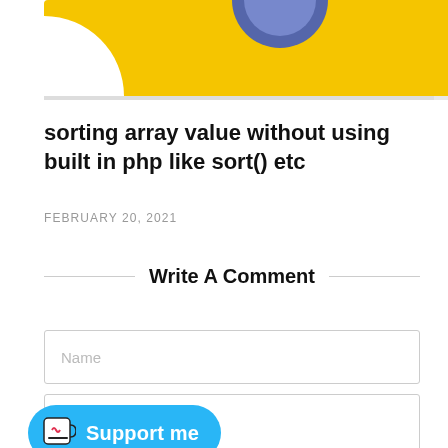[Figure (illustration): Top portion of a blog post thumbnail image with yellow background and partial circular avatar/icon visible at top center, white curved shape at left]
sorting array value without using built in php like sort() etc
FEBRUARY 20, 2021
Write A Comment
[Figure (screenshot): Web form with Name input field showing placeholder text 'Name', Email input field showing placeholder text 'Email', and partial Website field visible at bottom. A cyan/blue 'Support me' button with a coffee cup icon overlays the bottom-left area.]